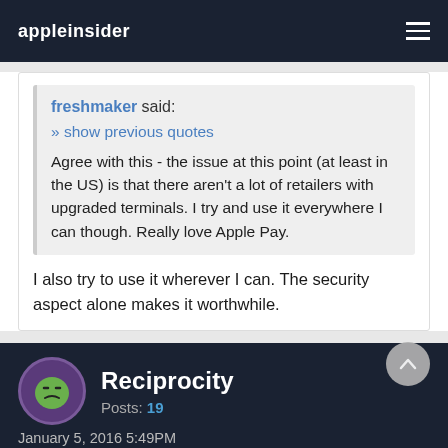appleinsider
freshmaker said:
» show previous quotes
Agree with this - the issue at this point (at least in the US) is that there aren't a lot of retailers with upgraded terminals.  I try and use it everywhere I can though.  Really love Apple Pay.
I also try to use it wherever I can. The security aspect alone makes it worthwhile.
Reciprocity
Posts: 19
January 5, 2016 5:49PM
It *is* nice to know when particular banks start supporting Apple Pay, particularly if one is waiting to hear when their card